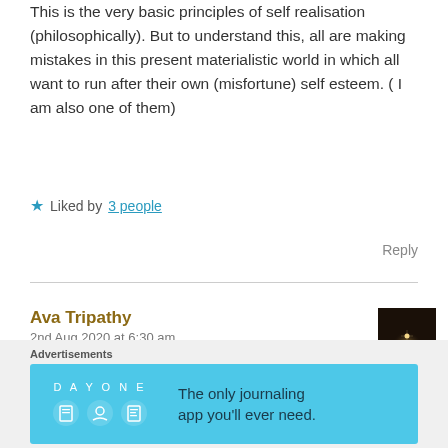This is the very basic principles of self realisation (philosophically). But to understand this, all are making mistakes in this present materialistic world in which all want to run after their own (misfortune) self esteem. ( I am also one of them)
★ Liked by 3 people
Reply
Ava Tripathy
2nd Aug 2020 at 6:30 am
[Figure (photo): Small avatar image showing a silhouette against a dark background with a bright light source]
Words with deep meaning!!!
Advertisements
[Figure (screenshot): DAY ONE app advertisement banner on blue background with icons and text: The only journaling app you'll ever need.]